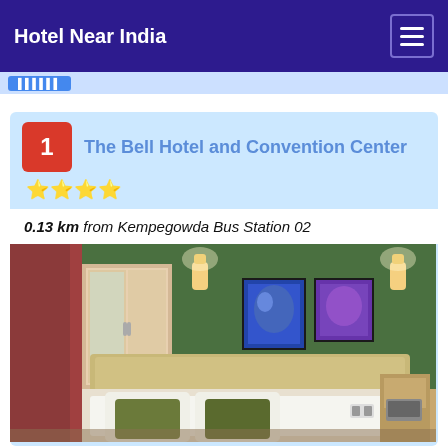Hotel Near India
The Bell Hotel and Convention Center
0.13 km from Kempegowda Bus Station 02
[Figure (photo): Hotel room interior with green walls, wall sconces, two framed pictures, bed with white and olive green pillows, wooden furniture and headboard]